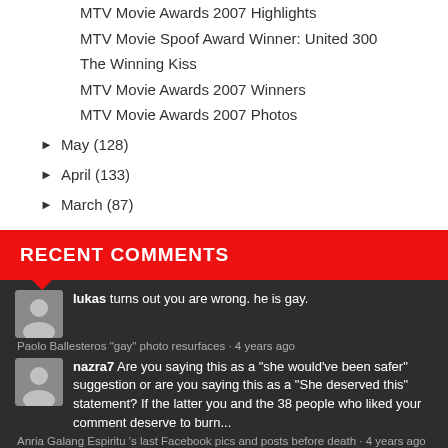MTV Movie Awards 2007 Highlights
MTV Movie Spoof Award Winner: United 300
The Winning Kiss
MTV Movie Awards 2007 Winners
MTV Movie Awards 2007 Photos
► May (128)
► April (133)
► March (87)
RECENT COMMENTS
lukas turns out you are wrong. he is gay.
Paolo Ballesteros "gay" photo resurfaces · 4 years ago
nazra7 Are you saying this as a "she would've been safer" suggestion or are you saying this as a "She deserved this" statement? If the latter you and the 38 people who liked your comment deserve to burn...
Anria Galang Espiritu 's last Facebook pics and posts before death · 4 years ago
Priscilla Bato Escama For a Neophyte...MAYMAY ENTRATA's episode being Ranked 13, and fitted against the More Veter Actors/Actresses...WOW na Wow na yan.....GO for More Maymay ed the Talents that GOD Gifted you...